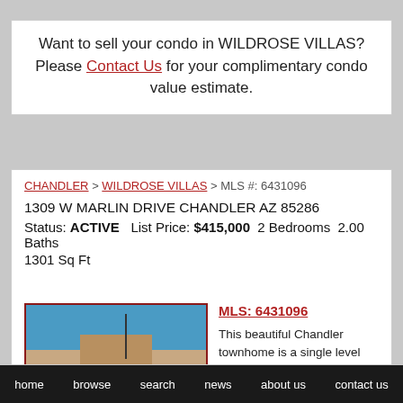Want to sell your condo in WILDROSE VILLAS? Please Contact Us for your complimentary condo value estimate.
CHANDLER > WILDROSE VILLAS > MLS #: 6431096
1309 W MARLIN DRIVE CHANDLER AZ 85286
Status: ACTIVE   List Price: $415,000   2 Bedrooms   2.00 Baths   1301 Sq Ft
[Figure (photo): Photo of a Chandler townhome exterior showing building facade with blue sky background]
MLS: 6431096
This beautiful Chandler townhome is a single level
home   browse   search   news   about us   contact us